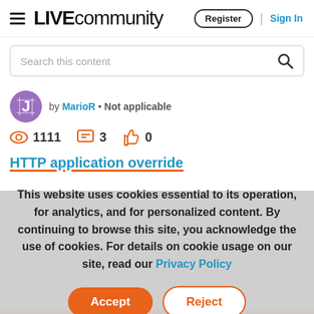LIVEcommunity | Register | Sign In
Search this content
by MarioR • Not applicable
1111   3   0
HTTP application override
This website uses cookies essential to its operation, for analytics, and for personalized content. By continuing to browse this site, you acknowledge the use of cookies. For details on cookie usage on our site, read our Privacy Policy
Accept   Reject